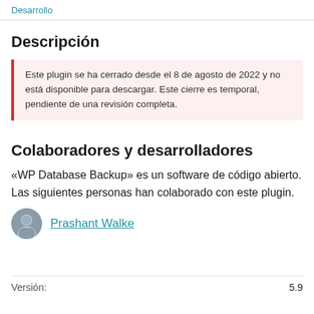Desarrollo
Descripción
Este plugin se ha cerrado desde el 8 de agosto de 2022 y no está disponible para descargar. Este cierre es temporal, pendiente de una revisión completa.
Colaboradores y desarrolladores
«WP Database Backup» es un software de código abierto. Las siguientes personas han colaborado con este plugin.
Prashant Walke
Versión:	5.9